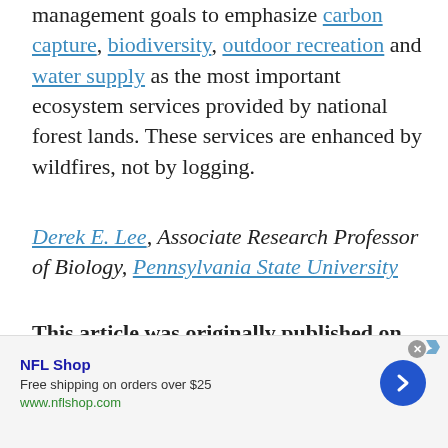management goals to emphasize carbon capture, biodiversity, outdoor recreation and water supply as the most important ecosystem services provided by national forest lands. These services are enhanced by wildfires, not by logging.
Derek E. Lee, Associate Research Professor of Biology, Pennsylvania State University
This article was originally published on The Conversation. Read the original article.
Science AF is ScienceAlert's new editorial section where we explore society's most complex problems using science, sanity and humor.
[Figure (other): Advertisement banner for NFL Shop: 'Free shipping on orders over $25' with URL www.nflshop.com and a blue circular arrow button]